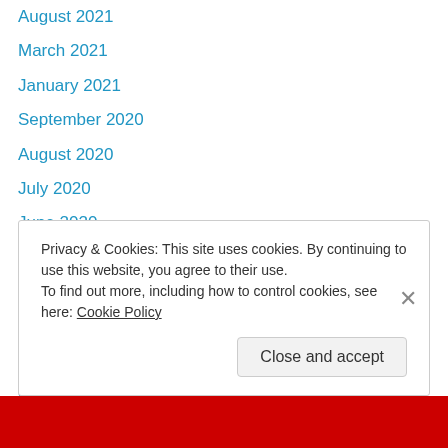August 2021
March 2021
January 2021
September 2020
August 2020
July 2020
June 2020
February 2020
January 2020
December 2019
November 2019
October 2019
September 2019
August 2019 (partial)
Privacy & Cookies: This site uses cookies. By continuing to use this website, you agree to their use.
To find out more, including how to control cookies, see here: Cookie Policy
Close and accept